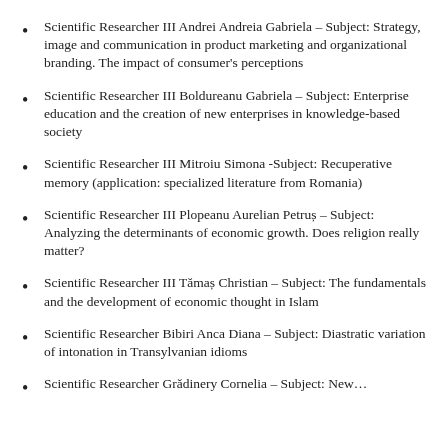Scientific Researcher III Andrei Andreia Gabriela – Subject: Strategy, image and communication in product marketing and organizational branding. The impact of consumer's perceptions
Scientific Researcher III Boldureanu Gabriela – Subject: Enterprise education and the creation of new enterprises in knowledge-based society
Scientific Researcher III Mitroiu Simona -Subject: Recuperative memory (application: specialized literature from Romania)
Scientific Researcher III Plopeanu Aurelian Petruș – Subject: Analyzing the determinants of economic growth. Does religion really matter?
Scientific Researcher III Tămaș Christian – Subject: The fundamentals and the development of economic thought in Islam
Scientific Researcher Bibiri Anca Diana – Subject: Diastratic variation of intonation in Transylvanian idioms
Scientific Researcher Grădinery Cornelia – Subject: New…